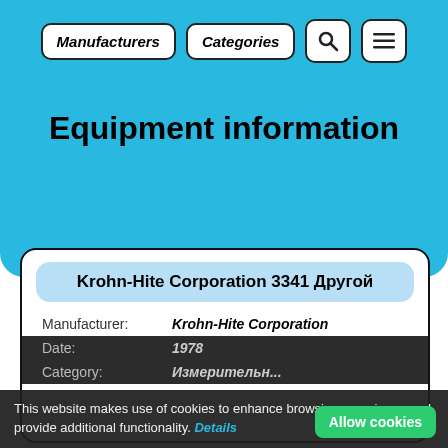Manufacturers   Categories
Equipment information
Krohn-Hite Corporation 3341 Другой
| Field | Value |
| --- | --- |
| Manufacturer: | Krohn-Hite Corporation |
| Date: | 1978 |
| Category: | Измерительн... |
This website makes use of cookies to enhance browsing experience and provide additional functionality. Details
Allow cookies